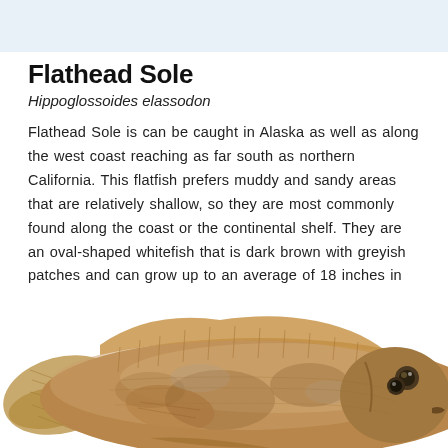Flathead Sole
Hippoglossoides elassodon
Flathead Sole is can be caught in Alaska as well as along the west coast reaching as far south as northern California. This flatfish prefers muddy and sandy areas that are relatively shallow, so they are most commonly found along the coast or the continental shelf. They are an oval-shaped whitefish that is dark brown with greyish patches and can grow up to an average of 18 inches in length.
[Figure (photo): Photo of a Flathead Sole fish — a flatfish with dark brown coloring, greyish patches, visible fins, and two eyes on one side of its head, shown against a white background.]